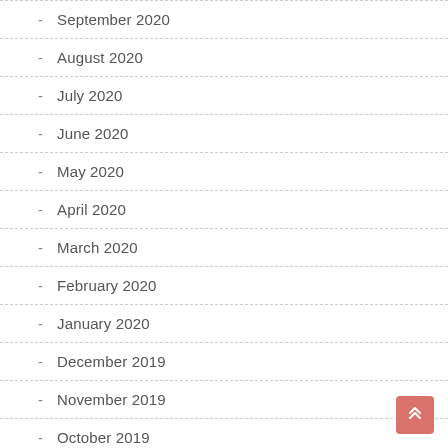- September 2020
- August 2020
- July 2020
- June 2020
- May 2020
- April 2020
- March 2020
- February 2020
- January 2020
- December 2019
- November 2019
- October 2019